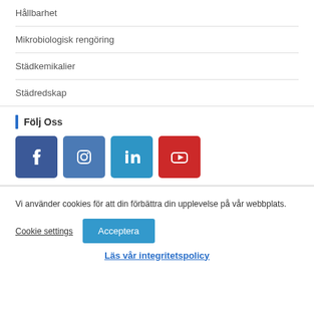Hållbarhet
Mikrobiologisk rengöring
Städkemikalier
Städredskap
Följ Oss
[Figure (other): Social media icons: Facebook, Instagram, LinkedIn, YouTube]
Vi använder cookies för att din förbättra din upplevelse på vår webbplats.
Cookie settings | Acceptera
Läs vår integritetspolicy